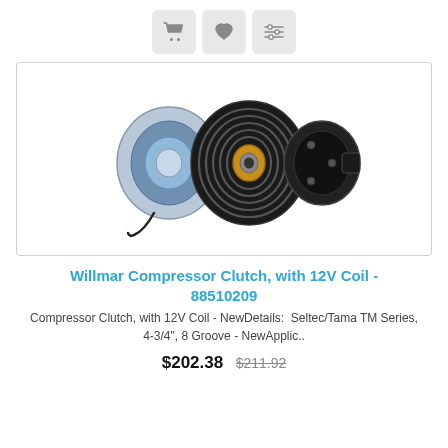[Figure (other): Three icon buttons: shopping cart, heart/wishlist, and compare/sliders]
[Figure (photo): Exploded view of a Willmar compressor clutch assembly with 12V coil, showing coil housing (blue/silver), pulley with grooves (black), and pressure plate (black), with a bearing visible in the center]
Willmar Compressor Clutch, with 12V Coil - 88510209
Compressor Clutch, with 12V Coil - NewDetails:  Seltec/Tama TM Series, 4-3/4", 8 Groove - NewApplic..
$202.38  $211.92